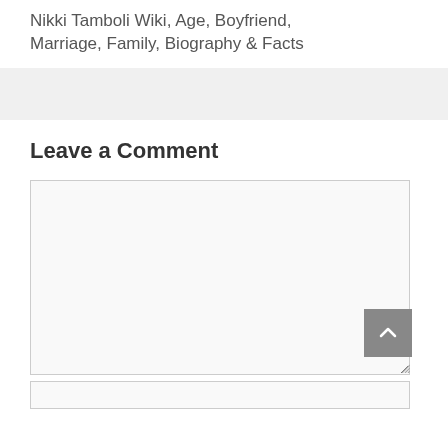Nikki Tamboli Wiki, Age, Boyfriend, Marriage, Family, Biography & Facts
Leave a Comment